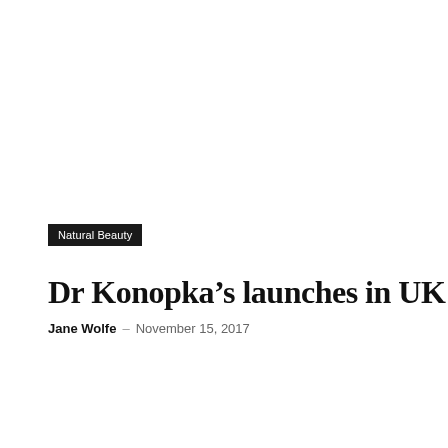Natural Beauty
Dr Konopka's launches in UK
Jane Wolfe – November 15, 2017